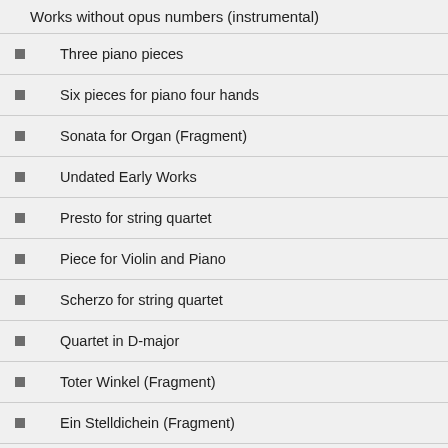Works without opus numbers (instrumental)
Three piano pieces
Six pieces for piano four hands
Sonata for Organ (Fragment)
Undated Early Works
Presto for string quartet
Piece for Violin and Piano
Scherzo for string quartet
Quartet in D-major
Toter Winkel (Fragment)
Ein Stelldichein (Fragment)